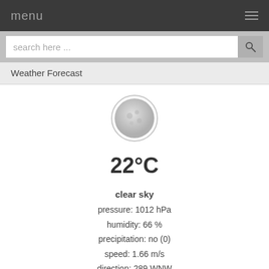menu
search here ...
Weather Forecast
[Figure (illustration): Moon/clear night sky weather icon — gray circular moon with craters, inside a circular border]
22°C
clear sky
pressure: 1012 hPa
humidity: 66 %
precipitation: no (0)
speed: 1.66 m/s
direction: 289 WNW
Tetovo